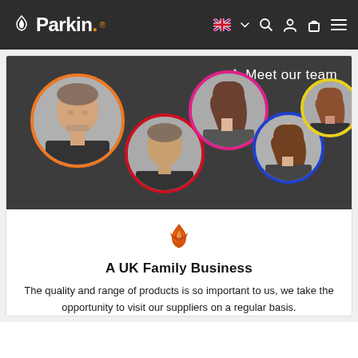Parkin. — navigation bar with logo, UK flag, search, account, basket, menu icons
[Figure (photo): Meet our team banner: dark grey background showing 5 team members in colourful circular frames (orange, red/crimson, pink/magenta, blue, yellow). Text 'Meet our team' with Parkin flame logo on the right.]
[Figure (logo): Orange Parkin flame/lotus icon]
A UK Family Business
The quality and range of products is so important to us, we take the opportunity to visit our suppliers on a regular basis.